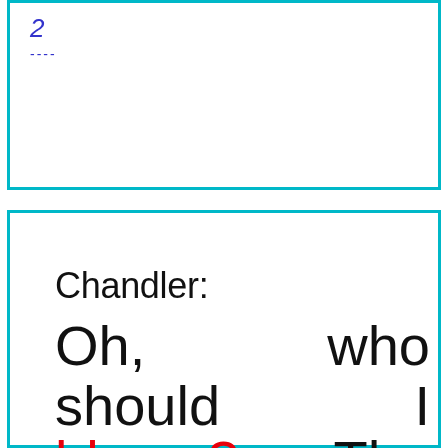2
----
Chandler: Oh, who should I blame? The